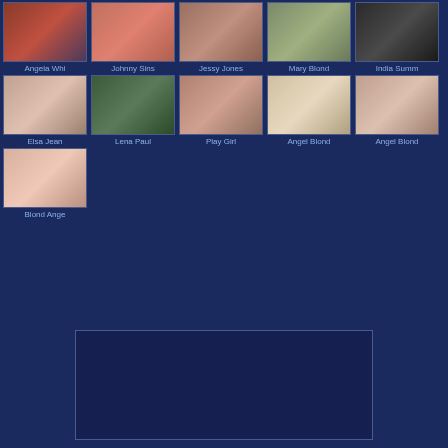[Figure (screenshot): Grid of thumbnail images with labels: Row 1: Angela Whi, Johnny Sins, Jessy Jones, Mary Blond, India Summ. Row 2: Elsa Jean, Lena Paul, Play Girl, Angel Blond, Angel Blond. Row 3: Blond Ange. Bottom: empty ad box area.]